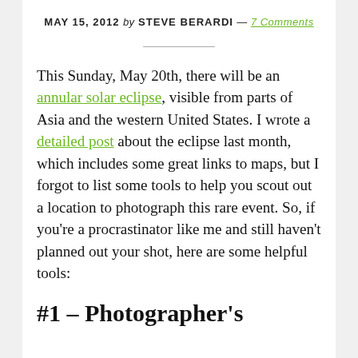MAY 15, 2012 by STEVE BERARDI — 7 Comments
This Sunday, May 20th, there will be an annular solar eclipse, visible from parts of Asia and the western United States. I wrote a detailed post about the eclipse last month, which includes some great links to maps, but I forgot to list some tools to help you scout out a location to photograph this rare event. So, if you're a procrastinator like me and still haven't planned out your shot, here are some helpful tools:
#1 – Photographer's